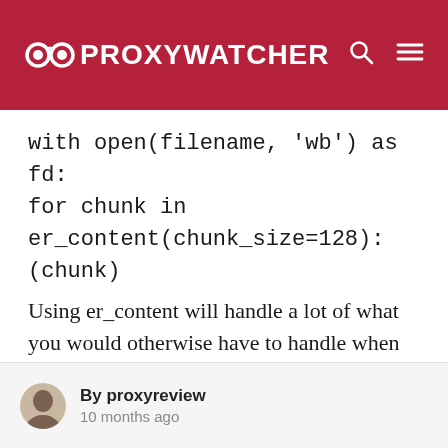PROXYWATCHER
with open(filename, 'wb') as fd:
for chunk in er_content(chunk_size=128):
(chunk)
Using er_content will handle a lot of what you would otherwise have to handle when using directly. When streaming a download, the above is the preferred and recommended way to retrieve the content. Note that chunk_size can be freely
By proxyreview
10 months ago